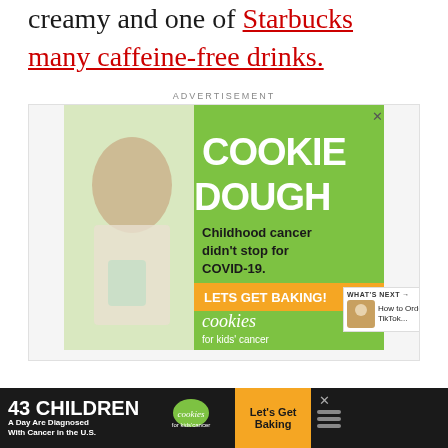creamy and one of Starbucks many caffeine-free drinks.
[Figure (illustration): Advertisement banner for Cookies for Kids' Cancer showing a smiling girl holding a jar of money with text 'COOKIE DOUGH - Childhood cancer didn't stop for COVID-19. LETS GET BAKING!' on a green background]
[Figure (illustration): Bottom banner advertisement: '43 CHILDREN A Day Are Diagnosed With Cancer in the U.S.' with Cookies for Kids' Cancer logo and 'Let's Get Baking' call to action on dark background]